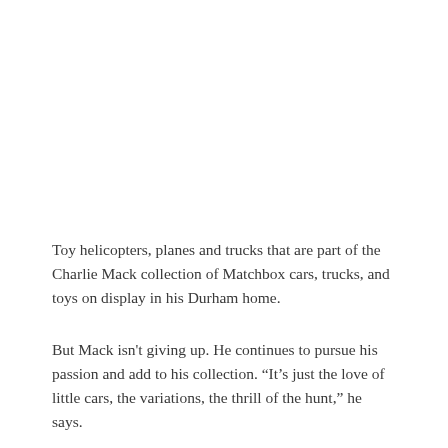Toy helicopters, planes and trucks that are part of the Charlie Mack collection of Matchbox cars, trucks, and toys on display in his Durham home.
But Mack isn't giving up. He continues to pursue his passion and add to his collection. “It’s just the love of little cars, the variations, the thrill of the hunt,” he says.